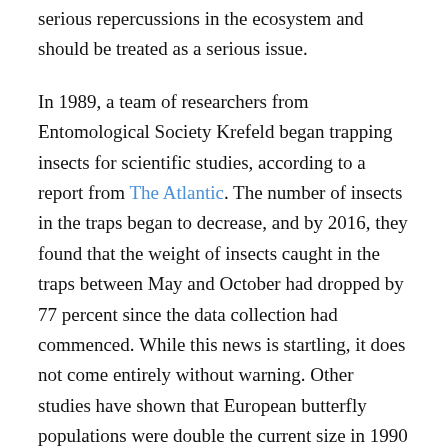serious repercussions in the ecosystem and should be treated as a serious issue.
In 1989, a team of researchers from Entomological Society Krefeld began trapping insects for scientific studies, according to a report from The Atlantic. The number of insects in the traps began to decrease, and by 2016, they found that the weight of insects caught in the traps between May and October had dropped by 77 percent since the data collection had commenced. While this news is startling, it does not come entirely without warning. Other studies have shown that European butterfly populations were double the current size in 1990 and that British moth populations have decreased by 30 percent every ten years. Even in North America, the honey bee population has experienced a 59 percent decrease since the 1940s.
Despite those warnings, people outside the scientific